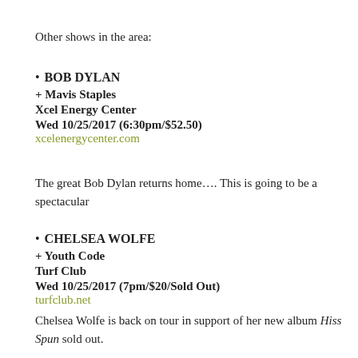Other shows in the area:
BOB DYLAN
+ Mavis Staples
Xcel Energy Center
Wed 10/25/2017 (6:30pm/$52.50)
xcelenergycenter.com
The great Bob Dylan returns home…. This is going to be a spectacular
CHELSEA WOLFE
+ Youth Code
Turf Club
Wed 10/25/2017 (7pm/$20/Sold Out)
turfclub.net
Chelsea Wolfe is back on tour in support of her new album Hiss Spun sold out.